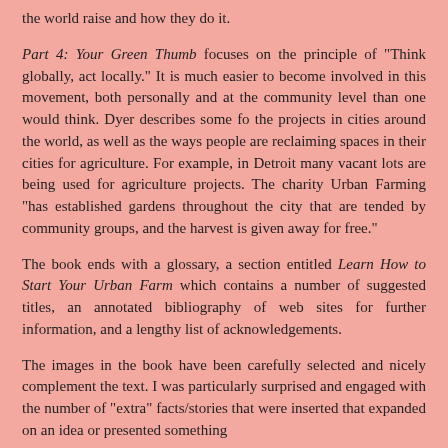the world raise and how they do it.
Part 4: Your Green Thumb focuses on the principle of "Think globally, act locally." It is much easier to become involved in this movement, both personally and at the community level than one would think. Dyer describes some fo the projects in cities around the world, as well as the ways people are reclaiming spaces in their cities for agriculture. For example, in Detroit many vacant lots are being used for agriculture projects. The charity Urban Farming "has established gardens throughout the city that are tended by community groups, and the harvest is given away for free."
The book ends with a glossary, a section entitled Learn How to Start Your Urban Farm which contains a number of suggested titles, an annotated bibliography of web sites for further information, and a lengthy list of acknowledgements.
The images in the book have been carefully selected and nicely complement the text. I was particularly surprised and engaged with the number of "extra" facts/stories that were inserted that expanded on an idea or presented something